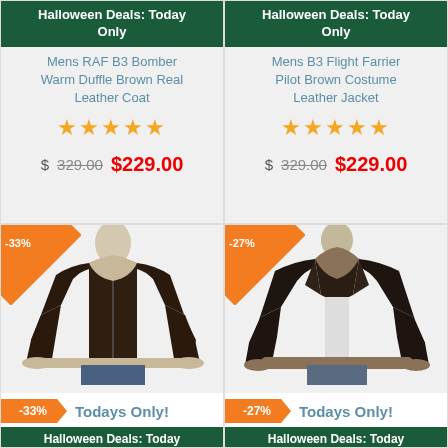[Figure (other): Product card: Mens RAF B3 Bomber Warm Duffle Brown Real Leather Coat with Halloween deal banner, 5 stars, original price $329.00, sale price $229.00]
[Figure (other): Product card: Mens B3 Flight Farrier Pilot Brown Costume Leather Jacket with Halloween deal banner, 5 stars, original price $329.00, sale price $229.00]
[Figure (photo): Dark brown leather bomber jacket on mannequin with -33% discount badge and bottom bar showing -33% Todays Only! and Halloween Deals: Today banner]
[Figure (photo): Dark brown leather jacket with fur collar on mannequin with -27% discount badge and bottom bar showing -27% Todays Only! and Halloween Deals: Today banner]